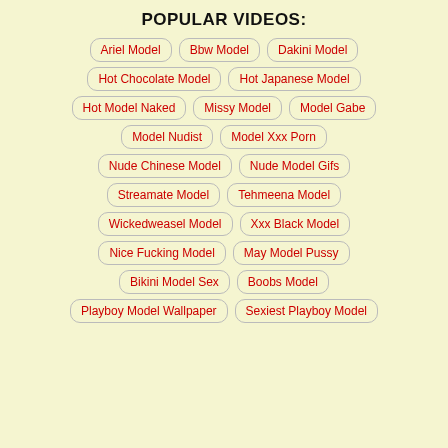POPULAR VIDEOS:
Ariel Model
Bbw Model
Dakini Model
Hot Chocolate Model
Hot Japanese Model
Hot Model Naked
Missy Model
Model Gabe
Model Nudist
Model Xxx Porn
Nude Chinese Model
Nude Model Gifs
Streamate Model
Tehmeena Model
Wickedweasel Model
Xxx Black Model
Nice Fucking Model
May Model Pussy
Bikini Model Sex
Boobs Model
Playboy Model Wallpaper
Sexiest Playboy Model